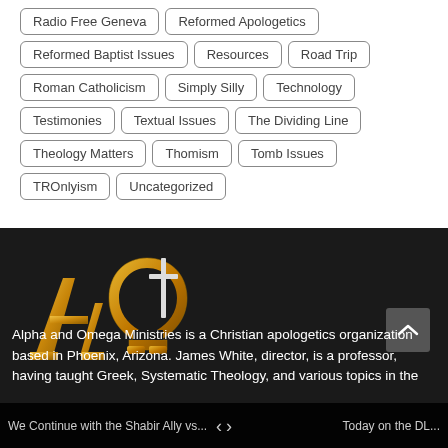Radio Free Geneva
Reformed Apologetics
Reformed Baptist Issues
Resources
Road Trip
Roman Catholicism
Simply Silly
Technology
Testimonies
Textual Issues
The Dividing Line
Theology Matters
Thomism
Tomb Issues
TROnlyism
Uncategorized
[Figure (logo): Alpha and Omega Ministries golden logo with Alpha, cross, and Omega symbols]
Alpha and Omega Ministries is a Christian apologetics organization based in Phoenix, Arizona. James White, director, is a professor, having taught Greek, Systematic Theology, and various topics in the
We Continue with the Shabir Ally vs...
Today on the DL...